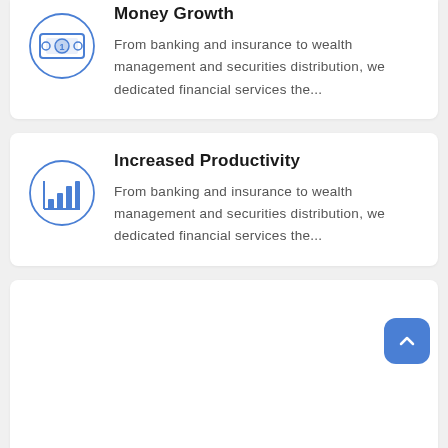[Figure (illustration): Blue circular icon with a dollar bill symbol representing Money Growth]
Money Growth
From banking and insurance to wealth management and securities distribution, we dedicated financial services the...
[Figure (illustration): Blue circular icon with a bar chart symbol representing Increased Productivity]
Increased Productivity
From banking and insurance to wealth management and securities distribution, we dedicated financial services the...